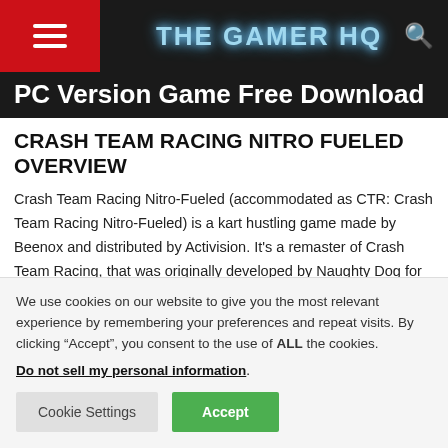THE GAMER HQ
PC Version Game Free Download
CRASH TEAM RACING NITRO FUELED OVERVIEW
Crash Team Racing Nitro-Fueled (accommodated as CTR: Crash Team Racing Nitro-Fueled) is a kart hustling game made by Beenox and distributed by Activision. It's a remaster of Crash Team Racing, that was originally developed by Naughty Dog for the PlayStation in 1999, and
We use cookies on our website to give you the most relevant experience by remembering your preferences and repeat visits. By clicking “Accept”, you consent to the use of ALL the cookies.
Do not sell my personal information.
Cookie Settings  Accept